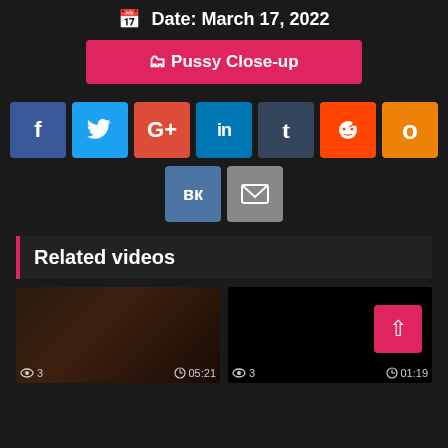Date: March 17, 2022
Pussy Close-up
[Figure (other): Social media share buttons: Facebook, Twitter, Google+, LinkedIn, Tumblr, Reddit, Odnoklassniki, VK, Email]
Related videos
[Figure (photo): Two video thumbnails side by side. Left thumbnail shows a dark scene. Right thumbnail shows a black screen with a pink/red scroll-to-top button. Both show view count of 3 and durations 05:21 and 01:19 respectively.]